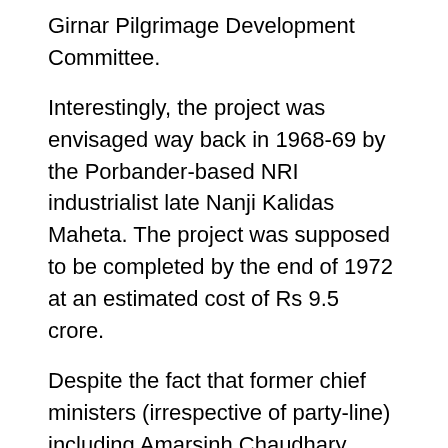Girnar Pilgrimage Development Committee.
Interestingly, the project was envisaged way back in 1968-69 by the Porbander-based NRI industrialist late Nanji Kalidas Maheta. The project was supposed to be completed by the end of 1972 at an estimated cost of Rs 9.5 crore.
Despite the fact that former chief ministers (irrespective of party-line) including Amarsinh Chaudhary, Chimanbhai Patel, Keshubhai Patel, Shankersinh Vaghela and Dilip Parikh promised to complete the project during their respective tenure as chief minister but somehow it didn’t materialise due to environmental, political and religious issues. Even Prime Minister Narendra Modi did groundbreaking for the project on May 7, 2007 when he was Gujarat CM